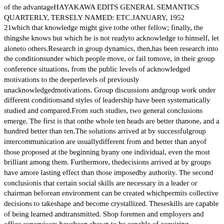of the advantageHAYAKAWA EDITS GENERAL SEMANTICS QUARTERLY, TERSELY NAMED: ETC.JANUARY, 1952
21which that knowledge might give tothe other fellow; finally, the thingshe knows but which he is not readyto acknowledge to himself, let aloneto others.Research in group dynamics, then,has been research into the conditionsunder which people move, or fail tomove, in their group conference situations, from the public levels of acknowledged motivations to the deeperlevels of previously unacknowledgedmotivations. Group discussions andgroup work under different conditionsand styles of leadership have been systematically studied and compared.From such studies, two general conclusions emerge. The first is that onthe whole ten heads are better thanone, and a hundred better than ten.The solutions arrived at by successfulgroup intercommunication are usuallydifferent from and better than anyof those proposed at the beginning byany one individual, even the most brilliant among them. Furthermore, thedecisions arrived at by groups have amore lasting effect than those imposedby authority. The second conclusionis that certain social skills are necessary in a leader or chairman beforean environment can be created whichpermits collective decisions to takeshape and become crystallized. Theseskills are capable of being learned andtransmitted. Shop foremen and employers and office supervisors havebeen shown to be capable of acquiring techniques and skills that resultin more harmonious and more effective group functioning.Minimal